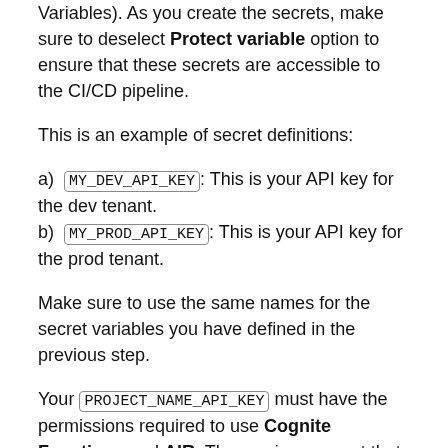Variables). As you create the secrets, make sure to deselect Protect variable option to ensure that these secrets are accessible to the CI/CD pipeline.
This is an example of secret definitions:
a) MY_DEV_API_KEY: This is your API key for the dev tenant.
b) MY_PROD_API_KEY: This is your API key for the prod tenant.
Make sure to use the same names for the secret variables you have defined in the previous step.
Your PROJECT_NAME_API_KEY must have the permissions required to use Cognite Functions and AIR. The service account that the api key is a part of should have the group AIR Data Manipulation assigned to it. You